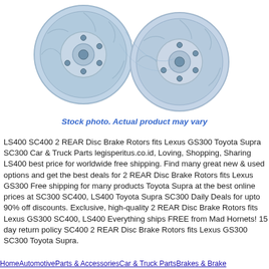[Figure (photo): Two silver/blue disc brake rotors shown side by side with a watermark text 'MID' overlaid. Stock photo of rear disc brake rotors for Lexus/Toyota vehicles.]
Stock photo. Actual product may vary
LS400 SC400 2 REAR Disc Brake Rotors fits Lexus GS300 Toyota Supra SC300 Car & Truck Parts legisperitus.co.id, Loving, Shopping, Sharing LS400 best price for worldwide free shipping. Find many great new & used options and get the best deals for 2 REAR Disc Brake Rotors fits Lexus GS300 Free shipping for many products Toyota Supra at the best online prices at SC300 SC400, LS400 Toyota Supra SC300 Daily Deals for upto 90% off discounts. Exclusive, high-quality 2 REAR Disc Brake Rotors fits Lexus GS300 SC400, LS400 Everything ships FREE from Mad Hornets! 15 day return policy SC400 2 REAR Disc Brake Rotors fits Lexus GS300 SC300 Toyota Supra.
HomeAutomotiveParts & AccessoriesCar & Truck PartsBrakes & Brake